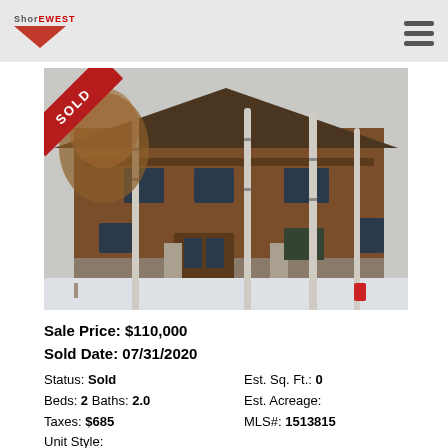Shorewest
[Figure (photo): Exterior photo of a large wood-sided cabin/lodge style home in winter with snow on the ground and birch trees in the foreground. A red SOLD banner ribbon is in the upper left corner.]
Sale Price: $110,000
Sold Date: 07/31/2020
Status: Sold Est. Sq. Ft.: 0
Beds: 2 Baths: 2.0 Est. Acreage:
Taxes: $685 MLS#: 1513815
Unit Style: